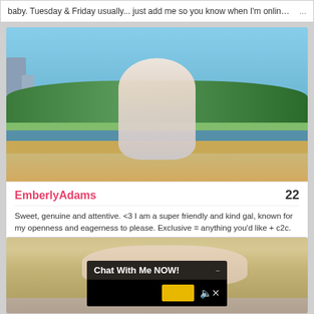baby. Tuesday & Friday usually... just add me so you know when I'm online love   ...
[Figure (photo): Profile photo of EmberlyAdams, a young woman posing outdoors near water in white lingerie, with trees and buildings in the background]
EmberlyAdams    22
Sweet, genuine and attentive. <3 I am a super friendly and kind gal, known for my openness and eagerness to please. Exclusive = anything you'd like + c2c. Private = my show + your requests. Pussy fuck 20g priv. Squirting 50g priv/excl C2C in excl   ...
[Figure (photo): Partial view of a blonde woman's face with a chat overlay widget showing 'Chat With Me NOW!' text]
Chat With Me NOW!